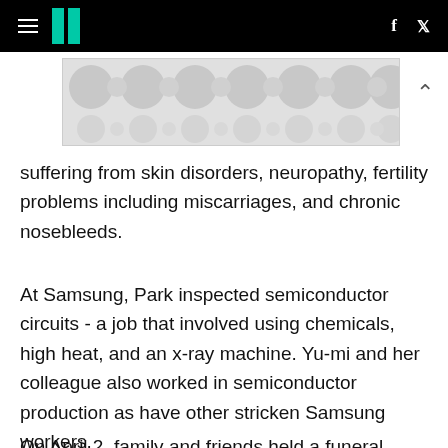HuffPost navigation with hamburger menu, logo, Facebook and Twitter icons
[Figure (other): Advertisement banner with grey polka dot / bubble pattern]
suffering from skin disorders, neuropathy, fertility problems including miscarriages, and chronic nosebleeds.
At Samsung, Park inspected semiconductor circuits - a job that involved using chemicals, high heat, and an x-ray machine. Yu-mi and her colleague also worked in semiconductor production as have other stricken Samsung workers.
On April 2, family and friends held a funeral